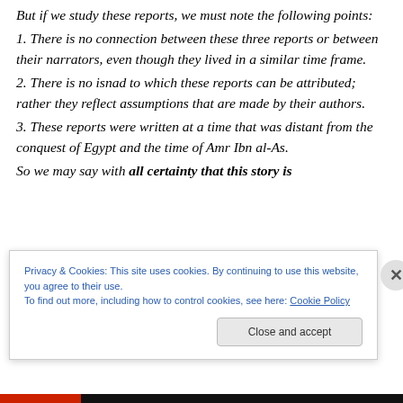But if we study these reports, we must note the following points:
1. There is no connection between these three reports or between their narrators, even though they lived in a similar time frame.
2. There is no isnad to which these reports can be attributed; rather they reflect assumptions that are made by their authors.
3. These reports were written at a time that was distant from the conquest of Egypt and the time of Amr Ibn al-As.
So we may say with all certainty that this story is
Privacy & Cookies: This site uses cookies. By continuing to use this website, you agree to their use.
To find out more, including how to control cookies, see here: Cookie Policy